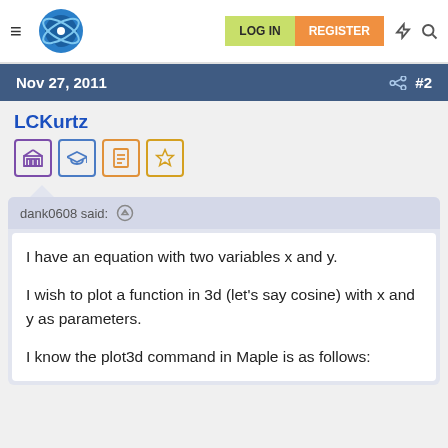LOG IN  REGISTER
Nov 27, 2011  #2
LCKurtz
dank0608 said:
I have an equation with two variables x and y.

I wish to plot a function in 3d (let's say cosine) with x and y as parameters.

I know the plot3d command in Maple is as follows: